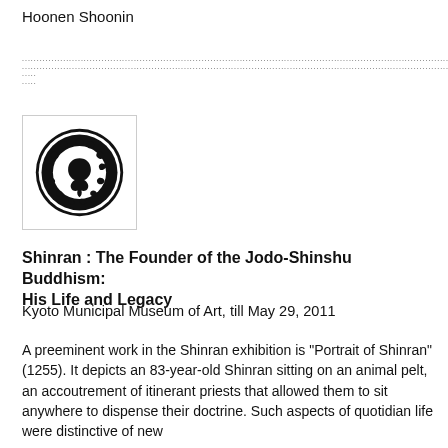Hoonen Shoonin
[Figure (logo): Black circular Japanese family crest (mon) with floral and scroll patterns on white background, inside a light bordered square]
Shinran : The Founder of the Jodo-Shinshu Buddhism: His Life and Legacy
Kyoto Municipal Museum of Art, till May 29, 2011
A preeminent work in the Shinran exhibition is "Portrait of Shinran" (1255). It depicts an 83-year-old Shinran sitting on an animal pelt, an accoutrement of itinerant priests that allowed them to sit anywhere to dispense their doctrine. Such aspects of quotidian life were distinctive of new